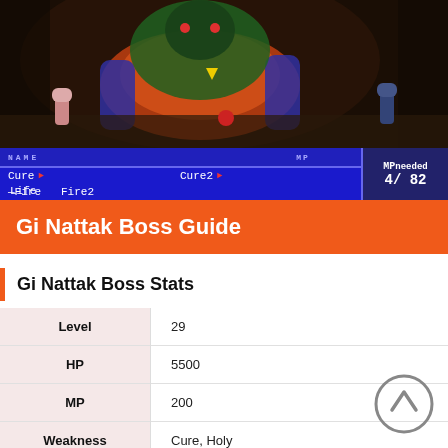[Figure (screenshot): Final Fantasy VII battle screenshot showing Gi Nattak boss fight. Game UI at bottom shows spell menu with Cure, Cure2, Life, Fire, Fire2, and MP needed 4/82.]
Gi Nattak Boss Guide
Gi Nattak Boss Stats
| Stat | Value |
| --- | --- |
| Level | 29 |
| HP | 5500 |
| MP | 200 |
| Weakness | Cure, Holy |
| Strong |  |